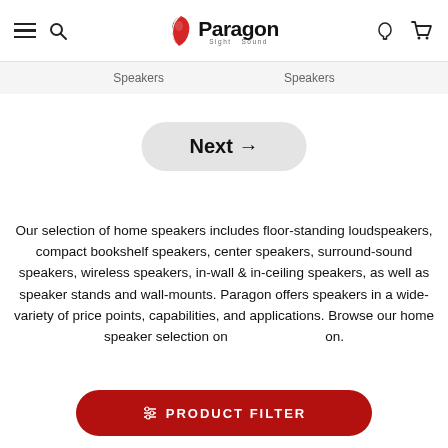Paragon Sight Sound — navigation header with hamburger menu, search, logo, user and cart icons
Speakers   Speakers
Next →
Our selection of home speakers includes floor-standing loudspeakers, compact bookshelf speakers, center speakers, surround-sound speakers, wireless speakers, in-wall & in-ceiling speakers, as well as speaker stands and wall-mounts. Paragon offers speakers in a wide-variety of price points, capabilities, and applications. Browse our home speaker selection on___on.
⊞ PRODUCT FILTER